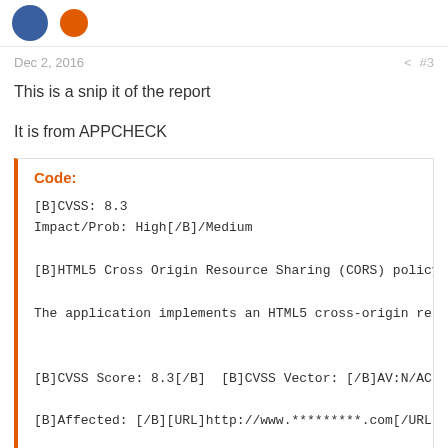[Figure (other): Page header with blue avatar icon and orange icon]
Dec 2, 2016  #3
This is a snip it of the report
It is from APPCHECK
Code:
[B]CVSS: 8.3
Impact/Prob: High[/B]/Medium

[B]HTML5 Cross Origin Resource Sharing (CORS) policy

The application implements an HTML5 cross-origin reso


[B]CVSS Score: 8.3[/B]  [B]CVSS Vector: [/B]AV:N/AC:N

[B]Affected: [/B][URL]http://www.*********.com[/URL],

The application implements an HTML5 cross-origin reso